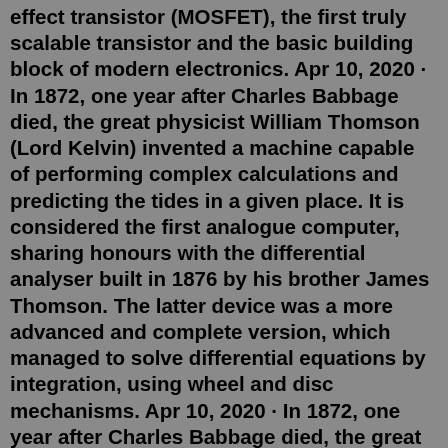effect transistor (MOSFET), the first truly scalable transistor and the basic building block of modern electronics. Apr 10, 2020 · In 1872, one year after Charles Babbage died, the great physicist William Thomson (Lord Kelvin) invented a machine capable of performing complex calculations and predicting the tides in a given place. It is considered the first analogue computer, sharing honours with the differential analyser built in 1876 by his brother James Thomson. The latter device was a more advanced and complete version, which managed to solve differential equations by integration, using wheel and disc mechanisms. Apr 10, 2020 · In 1872, one year after Charles Babbage died, the great physicist William Thomson (Lord Kelvin) invented a machine capable of performing complex calculations and predicting the tides in a given place. It is considered the first analogue computer, sharing honours with the differential analyser built in 1876 by his brother James Thomson. The latter device was a more advanced and complete version, which managed